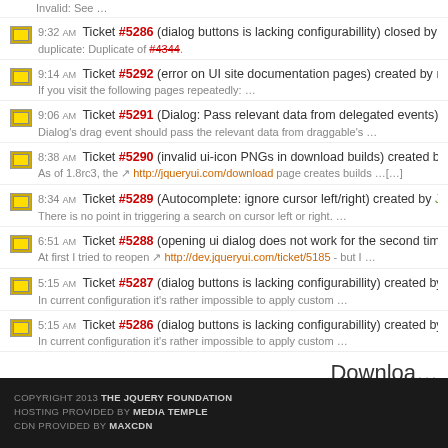Invalid: See …
9:32 AM Ticket #5286 (dialog buttons is lacking configurabillity) closed by Scott González — duplicate: Duplicate of #4344.
9:14 AM Ticket #5292 (error on UI site documentation pages) created by rdworth — If you visit the following pages repeatedly: …
9:06 AM Ticket #5291 (Dialog: Pass relevant data from delegated events) created by Scott — Dialog's drag event should pass the relevant data from draggable's …
8:38 AM Ticket #5290 (invalid ui-icon PNGs in download builds) created by Antti Kaihola — As of 1.8rc3, the http://jqueryui.com/download page creates builds …[…]
8:34 AM Ticket #5289 (Autocomplete: ignore cursor left/right) created by Jörn Zaefferer — There is no point in triggering a search on cursor left or right. …
6:51 AM Ticket #5288 (opening ui dialog does not work for the second time) created by Gru — At first I tried to reopen http://dev.jqueryui.com/ticket/5185 - but I …
5:15 AM Ticket #5287 (dialog buttons is lacking configurabillity) created by AzaToth — In current configuration it's rather impossible to apply custom …
5:15 AM Ticket #5286 (dialog buttons is lacking configurabillity) created by AzaToth — In current configuration it's rather impossible to apply custom …
Download
COPYRIGHT 2013 THE JQUERY FOUNDATION
HOSTING PROVIDED BY MEDIA TEMPLE
CDN PROVIDED BY MAXCDN